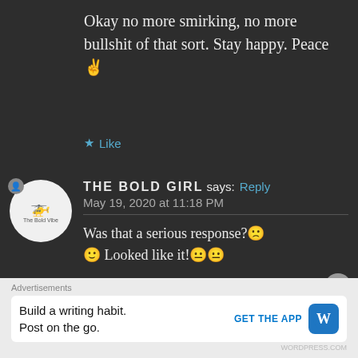Okay no more smirking, no more bullshit of that sort. Stay happy. Peace ✌
★ Like
THE BOLD GIRL says: Reply
May 19, 2020 at 11:18 PM
Was that a serious response?🙁 🙂 Looked like it!😐😐
★ Liked by 1 person
Advertisements
Build a writing habit. Post on the go.
GET THE APP